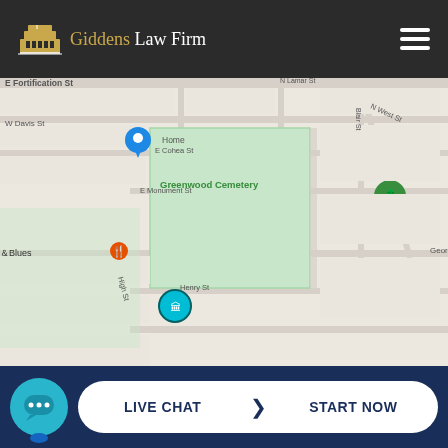Giddens Law Firm
[Figure (map): Google Maps street map showing area near Greenwood Cemetery in Jackson, MS. Visible streets include N Fortification St, W Davis St, E Cohea St, Blair St, N Lamar St, N West St, George St, Henry St, High St, North St, Boyd St, Bellevue Pl, Madison St, Whitworth St, Rio St. Points of interest include Walgreens, Wingstop, Trio Eatery, Cowboy Malo Home, and Blues restaurant. A location pin is shown near Home label. Greenwood Cemetery is shown as a green area.]
LIVE CHAT | START NOW